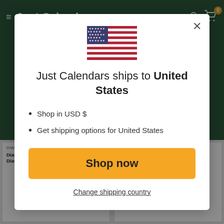Just Calendars
[Figure (screenshot): US flag emoji/icon centered in modal]
Just Calendars ships to United States
Shop in USD $
Get shipping options for United States
Shop now
Change shipping country
DIAMOND DOTZ
Diamond Dotz - Coming Home 77x62cm - Diamond Art
DIAMOND DOTZ
Diamond Dotz - Holy... Diamond Art